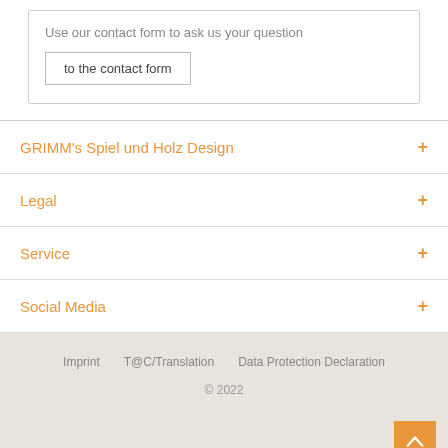Use our contact form to ask us your question
to the contact form
GRIMM's Spiel und Holz Design
Legal
Service
Social Media
Imprint   T@C/Translation   Data Protection Declaration
© 2022